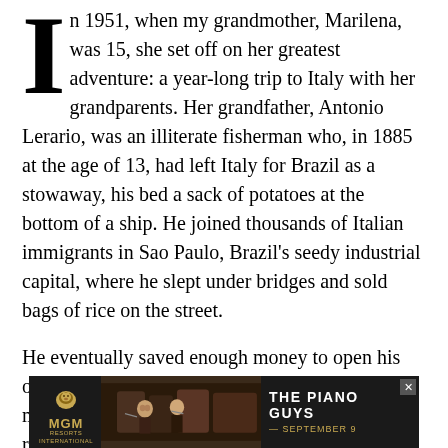In 1951, when my grandmother, Marilena, was 15, she set off on her greatest adventure: a year-long trip to Italy with her grandparents. Her grandfather, Antonio Lerario, was an illiterate fisherman who, in 1885 at the age of 13, had left Italy for Brazil as a stowaway, his bed a sack of potatoes at the bottom of a ship. He joined thousands of Italian immigrants in Sao Paulo, Brazil's seedy industrial capital, where he slept under bridges and sold bags of rice on the street.
He eventually saved enough money to open his own warehouse and went on to create a multimillion-dollar cereal empire. His rags-to-riches rise became core to his identity: It was a story he would repeatedly recount throughout his life and even on his grave — the fruit of decades of planning — which featured a sequence of
[Figure (other): MGM Resorts advertisement banner featuring The Piano Guys, September event promotion. Dark background with performers photo in center, MGM lion logo on left, event text on right.]